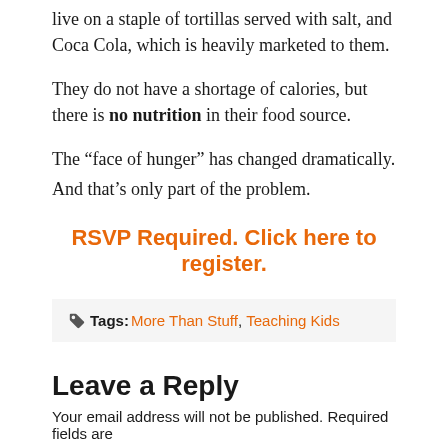live on a staple of tortillas served with salt, and Coca Cola, which is heavily marketed to them.
They do not have a shortage of calories, but there is no nutrition in their food source.
The “face of hunger” has changed dramatically.
And that’s only part of the problem.
RSVP Required. Click here to register.
Tags: More Than Stuff, Teaching Kids
Leave a Reply
Your email address will not be published. Required fields are